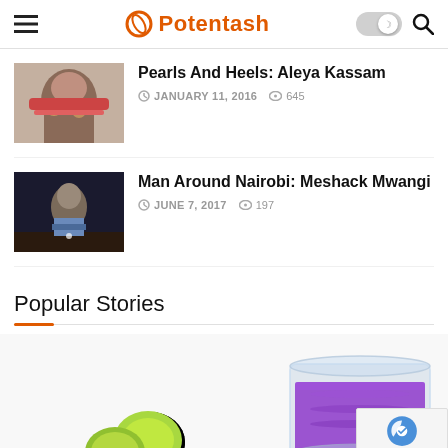Potentash
Pearls And Heels: Aleya Kassam
JANUARY 11, 2016  645
Man Around Nairobi: Meshack Mwangi
JUNE 7, 2017  197
Popular Stories
[Figure (photo): Glass of purple drink with limes on white background]